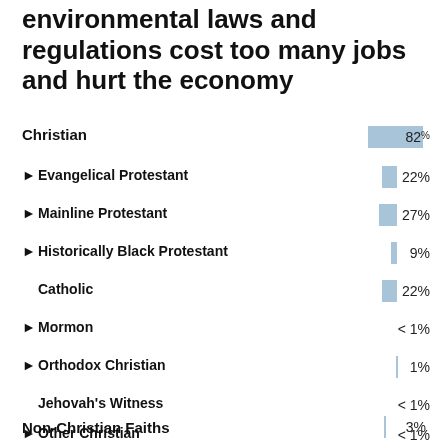environmental laws and regulations cost too many jobs and hurt the economy
[Figure (bar-chart): % who say environmental laws and regulations cost too many jobs and hurt the economy]